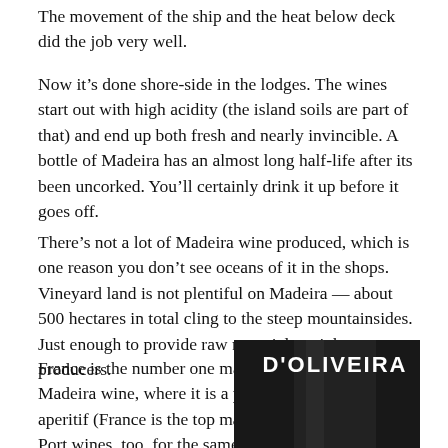The movement of the ship and the heat below deck did the job very well.
Now it’s done shore-side in the lodges. The wines start out with high acidity (the island soils are part of that) and end up both fresh and nearly invincible. A bottle of Madeira has an almost long half-life after its been uncorked. You’ll certainly drink it up before it goes off.
There’s not a lot of Madeira wine produced, which is one reason you don’t see oceans of it in the shops. Vineyard land is not plentiful on Madeira — about 500 hectares in total cling to the steep mountainsides. Just enough to provide raw material to eight producers.
France is the number one market for Madeira wine, where it is a popular aperitif (France is the top market for Port wines, too, for the same reason). Tourists visiting Madeira enjoy enough of the
[Figure (photo): Close-up photograph of a dark bottle of D'Oliveira Sercial Madeira wine, showing the label text 'D'OLIVEIRA' at the top and 'SERCIAL' in large letters below, on a dark background.]